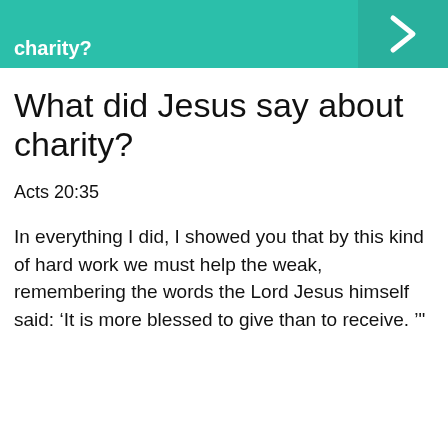charity?
What did Jesus say about charity?
Acts 20:35
In everything I did, I showed you that by this kind of hard work we must help the weak, remembering the words the Lord Jesus himself said: ‘It is more blessed to give than to receive. ’"